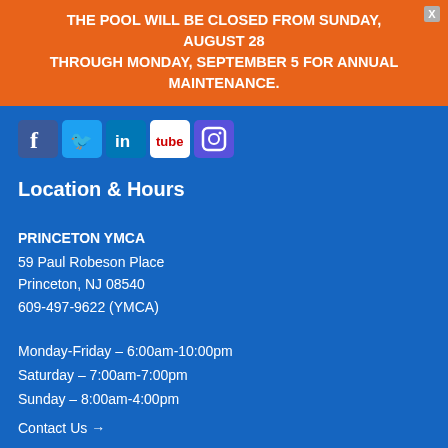THE POOL WILL BE CLOSED FROM SUNDAY, AUGUST 28 through MONDAY, SEPTEMBER 5 FOR ANNUAL MAINTENANCE.
[Figure (other): Social media icons: Facebook, Twitter, LinkedIn, YouTube, Instagram]
Location & Hours
PRINCETON YMCA
59 Paul Robeson Place
Princeton, NJ 08540
609-497-9622 (YMCA)
Monday-Friday – 6:00am-10:00pm
Saturday – 7:00am-7:00pm
Sunday – 8:00am-4:00pm
Contact Us →